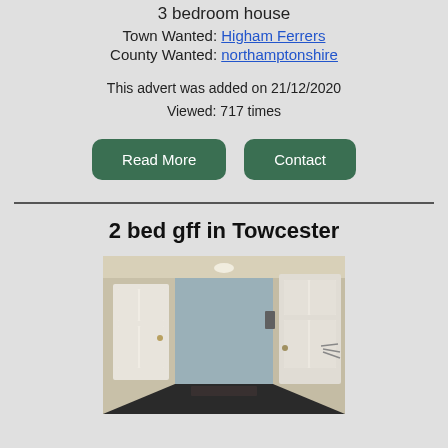3 bedroom house
Town Wanted: Higham Ferrers
County Wanted: northamptonshire
This advert was added on 21/12/2020
Viewed: 717 times
[Figure (other): Read More and Contact buttons]
2 bed gff in Towcester
[Figure (photo): Interior hallway photo showing white panelled doors and a corridor]